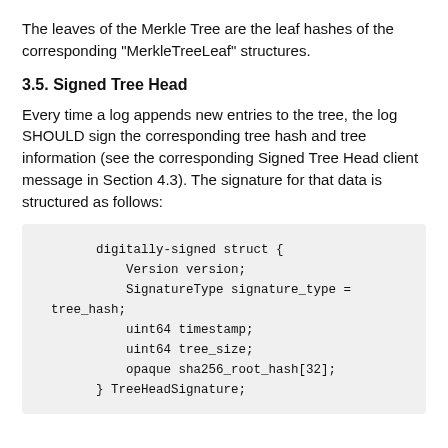The leaves of the Merkle Tree are the leaf hashes of the corresponding "MerkleTreeLeaf" structures.
3.5. Signed Tree Head
Every time a log appends new entries to the tree, the log SHOULD sign the corresponding tree hash and tree information (see the corresponding Signed Tree Head client message in Section 4.3). The signature for that data is structured as follows:
[Figure (other): Code block showing digitally-signed struct definition with fields: Version version; SignatureType signature_type = tree_hash; uint64 timestamp; uint64 tree_size; opaque sha256_root_hash[32]; } TreeHeadSignature;]